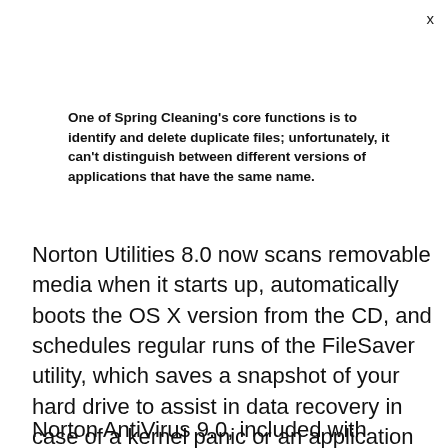One of Spring Cleaning's core functions is to identify and delete duplicate files; unfortunately, it can't distinguish between different versions of applications that have the same name.
Norton Utilities 8.0 now scans removable media when it starts up, automatically boots the OS X version from the CD, and schedules regular runs of the FileSaver utility, which saves a snapshot of your hard drive to assist in data recovery in case of a kernel panic or an application crash.
Norton AntiVirus 9.0, included with